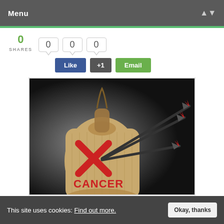Menu
0 SHARES  0  0  0
Like  +1  Email
[Figure (photo): A burlap bag stamped with a red X and the word CANCER, with three red arrows stuck into it against a dark background.]
Photo credit: bigstock.com
This site uses cookies: Find out more.  Okay, thanks